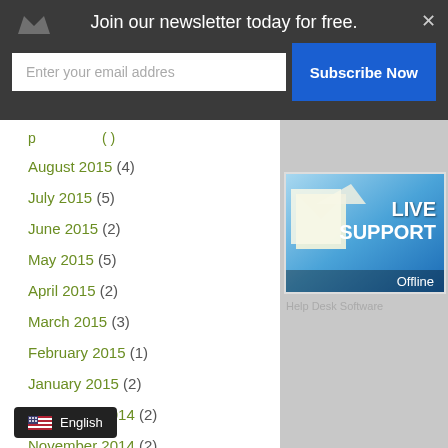Join our newsletter today for free.
Enter your email addres
Subscribe Now
August 2015 (4)
July 2015 (5)
June 2015 (2)
May 2015 (5)
April 2015 (2)
March 2015 (3)
February 2015 (1)
January 2015 (2)
December 2014 (2)
November 2014 (2)
October 2014 (1)
July 2013 (1)
April 2013 (4)
December 2012 (1)
October 2012 (1)
June 2012 (1)
[Figure (screenshot): Live Support Offline button/widget in blue]
Help Desk Software
English